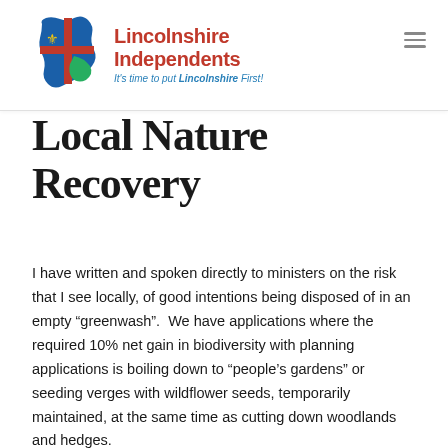[Figure (logo): Lincolnshire Independents logo with Lincolnshire flag icon and text 'Lincolnshire Independents — It's time to put Lincolnshire First!']
Local Nature Recovery
I have written and spoken directly to ministers on the risk that I see locally, of good intentions being disposed of in an empty “greenwash”.  We have applications where the required 10% net gain in biodiversity with planning applications is boiling down to “people’s gardens” or seeding verges with wildflower seeds, temporarily maintained, at the same time as cutting down woodlands and hedges.